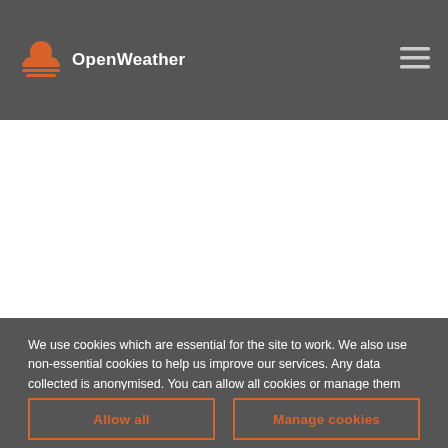[Figure (logo): OpenWeather logo with orange sun/cloud icon and white text 'OpenWeather' on dark grey header bar]
[Figure (screenshot): White content area (main page content obscured/empty)]
We use cookies which are essential for the site to work. We also use non-essential cookies to help us improve our services. Any data collected is anonymised. You can allow all cookies or manage them individually.
Allow all
Manage cookies